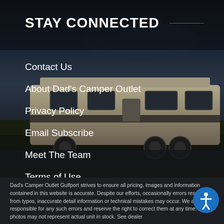STAY CONNECTED
Contact Us
About Dad's Camper Outlet
Privacy Policy
Email Subscribe
Meet The Team
Terms of Use
[Figure (photo): Dark photo of an RV/camper vehicle parked outdoors at dusk with a dark sky background]
Dad's Camper Outlet Gulfport strives to ensure all pricing, images and information contained in this website is accurate. Despite our efforts, occasionally errors resulting from typos, inaccurate detail information or technical mistakes may occur. We are not responsible for any such errors and reserve the right to correct them at any time. Stock photos may not represent actual unit in stock. See dealer